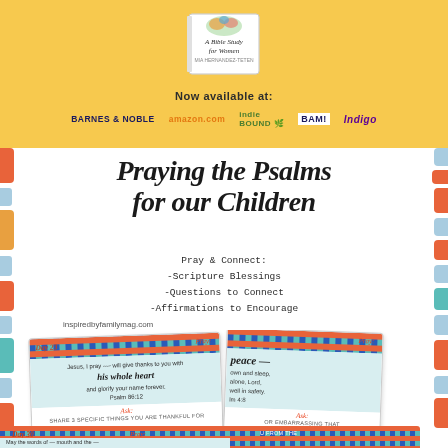[Figure (illustration): Top yellow banner with a book titled 'A Bible Study for Women' by Mia Hernandez-Teten, available at Barnes & Noble, amazon.com, IndieBound, BAM!, and Indigo]
Now available at:
BARNES & NOBLE   amazon.com   IndieBound   BAM!   Indigo
Praying the Psalms for our Children
Pray & Connect:
-Scripture Blessings
-Questions to Connect
-Affirmations to Encourage
inspiredbyfamilymag.com
[Figure (illustration): Sample prayer cards showing 'Praying the Psalms for our Children' cards with Day 23 card showing: 'Jesus, I pray ---- will give thanks to you with his whole heart and glorify your name forever. Psalm 86:12' and Ask section 'SHARE 3 SPECIFIC THINGS YOU ARE THANKFUL FOR', plus partial view of another card with peace theme, and Day 30 card at bottom]